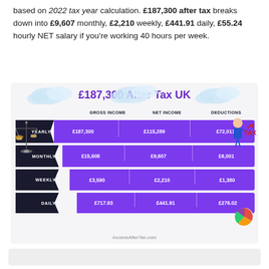based on 2022 tax year calculation. £187,300 after tax breaks down into £9,607 monthly, £2,210 weekly, £441.91 daily, £55.24 hourly NET salary if you're working 40 hours per week.
[Figure (infographic): Pyramid-style infographic titled '£187,300 After Tax UK' showing gross income, net income, and deductions broken down yearly, monthly, weekly, and daily. Yearly: £187,300 / £115,289 / £72,011. Monthly: £15,608 / £9,607 / £6,001. Weekly: £3,590 / £2,210 / £1,380. Daily: £717.93 / £441.91 / £276.02. Source: IncomeAfterTax.com]